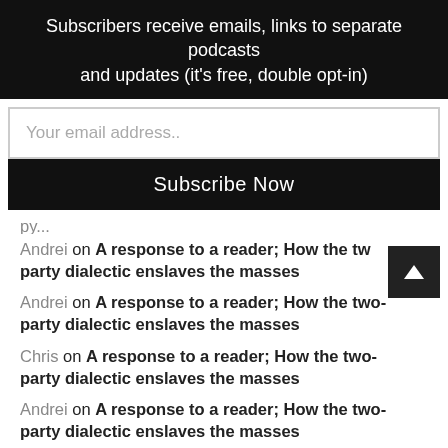Subscribers receive emails, links to separate podcasts and updates (it's free, double opt-in)
Your email address..
Subscribe Now
Andrei on A response to a reader; How the two-party dialectic enslaves the masses
Andrei on A response to a reader; How the two-party dialectic enslaves the masses
Chris on A response to a reader; How the two-party dialectic enslaves the masses
Andrei on A response to a reader; How the two-party dialectic enslaves the masses
Chris on A response to a reader; How the two-party dialectic enslaves the masses
Chris on A response to a reader; How the two-party dialectic enslaves the masses
Chris on A response to a reader; How the two-party dialectic enslaves the masses